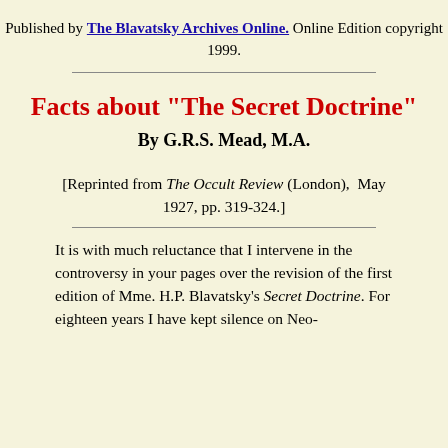Published by The Blavatsky Archives Online. Online Edition copyright 1999.
Facts about "The Secret Doctrine"
By G.R.S. Mead, M.A.
[Reprinted from The Occult Review (London),  May 1927, pp. 319-324.]
It is with much reluctance that I intervene in the controversy in your pages over the revision of the first edition of Mme. H.P. Blavatsky's Secret Doctrine. For eighteen years I have kept silence on Neo-